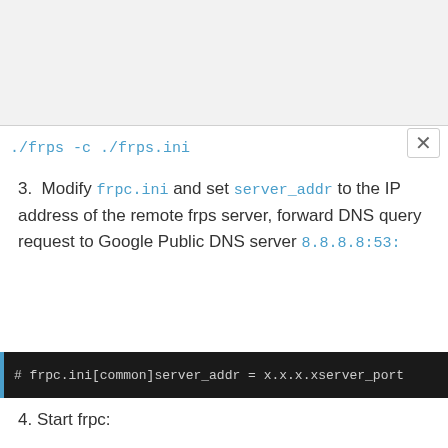./frps -c ./frps.ini
3. Modify frpc.ini and set server_addr to the IP address of the remote frps server, forward DNS query request to Google Public DNS server 8.8.8.8:53:
# frpc.ini[common]server_addr = x.x.x.xserver_port
4. Start frpc:
./frpc -c ./frpc.ini
5. Test DNS resolution using dig command: